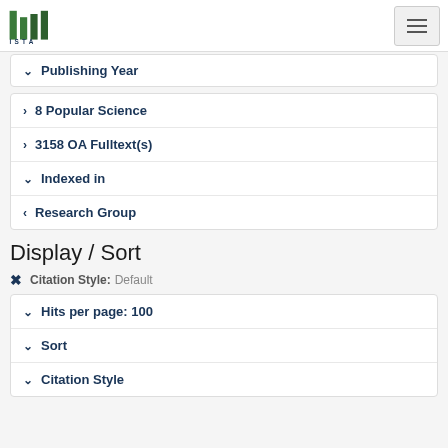ISTA logo and navigation hamburger menu
Publishing Year
8 Popular Science
3158 OA Fulltext(s)
Indexed in
Research Group
Display / Sort
Citation Style: Default
Hits per page: 100
Sort
Citation Style